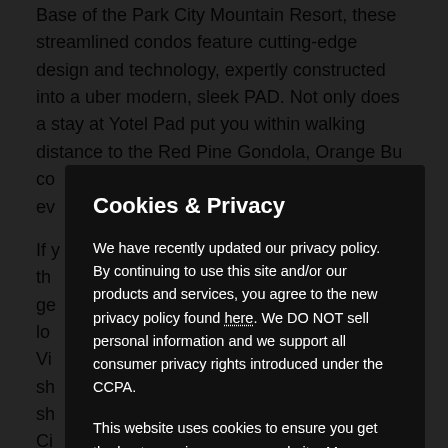Base of the Park City Mountain Resort, these streamlined condos feature cutting-edge design and technology, expertly constructed into a uber modern, sleek PAD. Not only does a stay at Yotel Pad put you within walking distance to the Red Pine Gondola, Orange Bu... co... ev...
If y... all th... ge... lo... Vi... sh... sh... Ci...
Th... livi... up... to...
Yo... assist you with your luggage and ski/snowboard equipment, and park your car. You will then check in at "Mission Control" (i.e. the...
Cookies & Privacy
We have recently updated our privacy policy. By continuing to use this site and/or our products and services, you agree to the new privacy policy found here. We DO NOT sell personal information and we support all consumer privacy rights introduced under the CCPA.
This website uses cookies to ensure you get the best experience on our website. More information